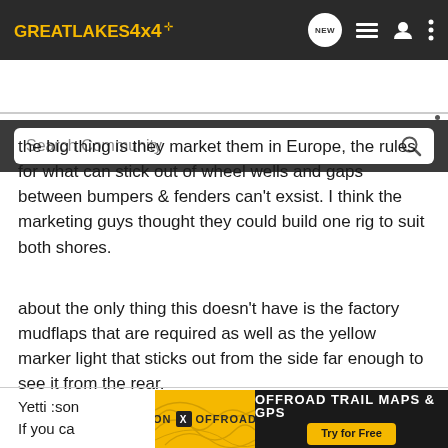GREATLAKES4x4 [logo] — header navigation bar with NEW, list, user, more icons
Search Community
the big thing is they market them in Europe, the rules for what can stick out of wheel wells and gaps between bumpers & fenders can't exsist. I think the marketing guys thought they could build one rig to suit both shores.
about the only thing this doesn't have is the factory mudflaps that are required as well as the yellow marker light that sticks out from the side far enough to see it from the rear.
Yetti :son
If you ca
[Figure (infographic): ON X OFFROAD advertisement banner: left side yellow background with topographic map pattern and 'ON X OFFROAD' text, right side dark background with 'OFFROAD TRAIL MAPS & GPS' in white uppercase text and yellow 'Try for Free' button]